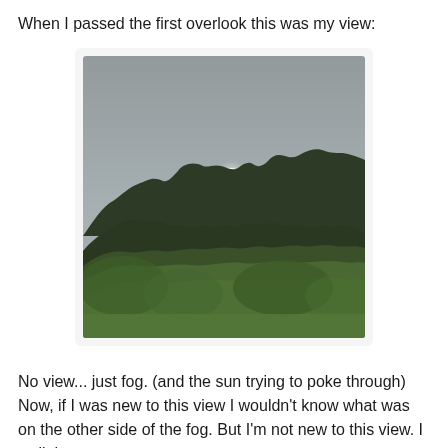When I passed the first overlook this was my view:
[Figure (photo): A foggy outdoor scene showing dense green trees and shrubs in the foreground and lower half, with a grey overcast sky dominating the upper portion. A faint white glow of the sun is visible through the thick fog near the center of the sky.]
No view... just fog. (and the sun trying to poke through) Now, if I was new to this view I wouldn't know what was on the other side of the fog. But I'm not new to this view. I walk here